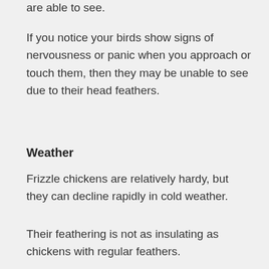are able to see.
If you notice your birds show signs of nervousness or panic when you approach or touch them, then they may be unable to see due to their head feathers.
Weather
Frizzle chickens are relatively hardy, but they can decline rapidly in cold weather.
Their feathering is not as insulating as chickens with regular feathers.